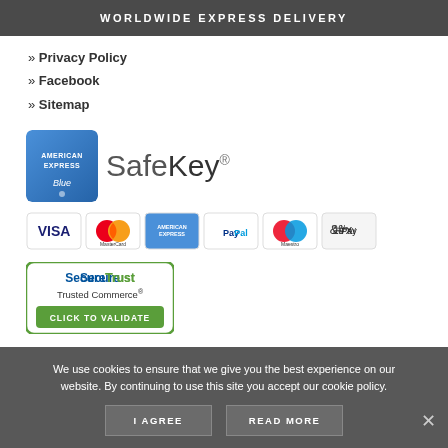WORLDWIDE EXPRESS DELIVERY
» Privacy Policy
» Facebook
» Sitemap
[Figure (logo): American Express SafeKey logo — Amex card with SafeKey text]
[Figure (infographic): Payment method icons: VISA, MasterCard, American Express, PayPal, Maestro, Apple Pay]
[Figure (logo): SecureTrust Trusted Commerce — Click to Validate badge]
We use cookies to ensure that we give you the best experience on our website. By continuing to use this site you accept our cookie policy.
I AGREE   READ MORE